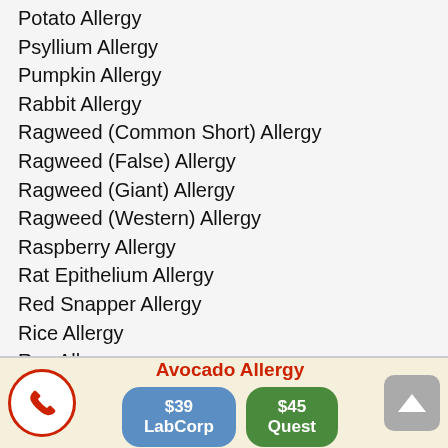Potato Allergy
Psyllium Allergy
Pumpkin Allergy
Rabbit Allergy
Ragweed (Common Short) Allergy
Ragweed (False) Allergy
Ragweed (Giant) Allergy
Ragweed (Western) Allergy
Raspberry Allergy
Rat Epithelium Allergy
Red Snapper Allergy
Rice Allergy
Rye Allergy
Salmon Allergy
Scallop Allergy
Sesame Seed Allergy
Shrimp Allergy
Avocado Allergy
$39 LabCorp
$45 Quest